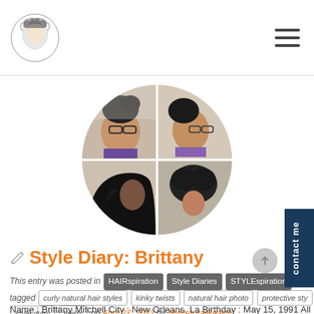MyNaturalReality blog header with logo and hamburger menu
[Figure (photo): Circular photo collage of four hairstyle photos of Brittany, divided into quadrants within a circle shape]
Style Diary: Brittany
This entry was posted in HAIRspiration Style Diaries STYLEspiration and tagged curly natural hair styles kinky twists natural hair photo protective sty style diary twists on April 27, 2013 by MyNaturalReality
Name : Brittany Mitchell City : New Orleans, La Birthday : May 15, 1991 All About Me….. I have been natural 1 year 5 months and 6